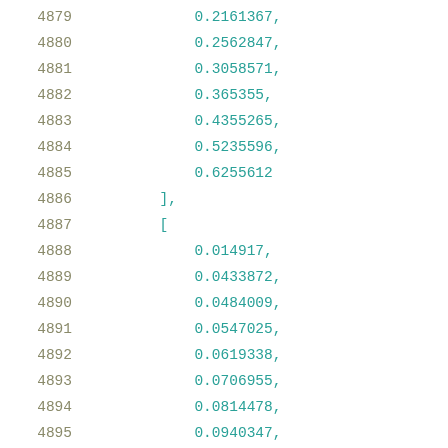4879    0.2161367,
4880    0.2562847,
4881    0.3058571,
4882    0.365355,
4883    0.4355265,
4884    0.5235596,
4885    0.6255612
4886    ],
4887    [
4888    0.014917,
4889    0.0433872,
4890    0.0484009,
4891    0.0547025,
4892    0.0619338,
4893    0.0706955,
4894    0.0814478,
4895    0.0940347,
4896    0.1104067,
4897    0.1294489,
4898    0.1526559,
4899    0.1807952,